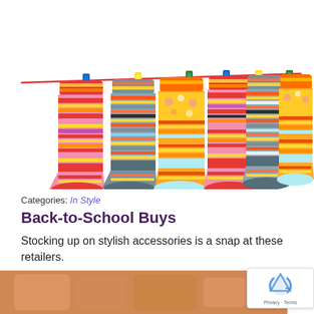[Figure (photo): Seven colorful striped socks hanging on a red clothesline with multicolored clothespins (blue, yellow, green, yellow, green) against a white background. Socks feature vibrant stripes in red, pink, orange, yellow, gray, and other colors.]
Categories: In Style
Back-to-School Buys
Stocking up on stylish accessories is a snap at these retailers.
[Figure (photo): Partial bottom image showing what appears to be food items (possibly sandwiches or baked goods) in warm orange/brown tones.]